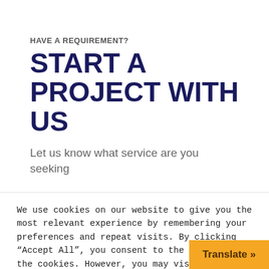HAVE A REQUIREMENT?
START A PROJECT WITH US
Let us know what service are you seeking
We use cookies on our website to give you the most relevant experience by remembering your preferences and repeat visits. By clicking “Accept All”, you consent to the use of ALL the cookies. However, you may visit "Cookie Settings" to provide a controlled consent.
Cookie Settings
Accept All
Translate »